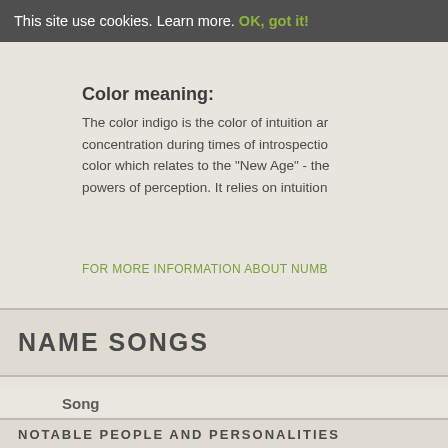This site use cookies. Learn more. OK, got it!
Color meaning:
The color indigo is the color of intuition and concentration during times of introspection, color which relates to the "New Age" - the powers of perception. It relies on intuition
FOR MORE INFORMATION ABOUT NUMB
NAME SONGS
| Song |
| --- |
| DOMINICK THE DONKEY |
NOTABLE PEOPLE AND PERSONALITIES